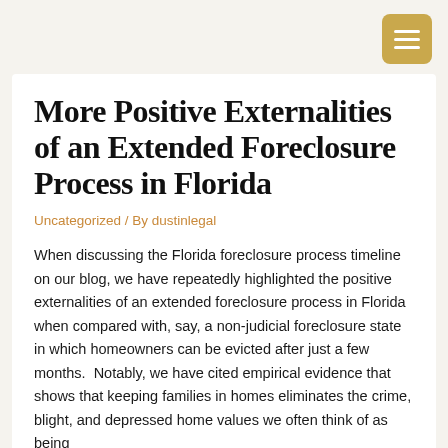[menu button]
More Positive Externalities of an Extended Foreclosure Process in Florida
Uncategorized / By dustinlegal
When discussing the Florida foreclosure process timeline on our blog, we have repeatedly highlighted the positive externalities of an extended foreclosure process in Florida when compared with, say, a non-judicial foreclosure state in which homeowners can be evicted after just a few months.  Notably, we have cited empirical evidence that shows that keeping families in homes eliminates the crime, blight, and depressed home values we often think of as being...